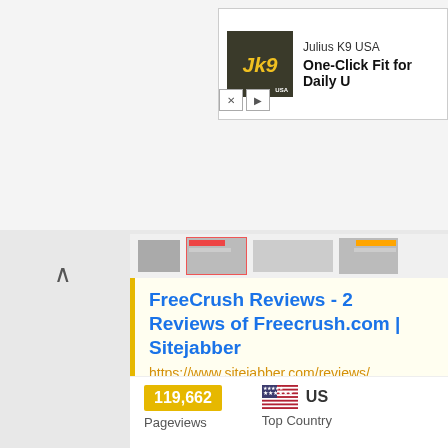[Figure (screenshot): Julius K9 USA advertisement banner with logo and text 'One-Click Fit for Daily U']
[Figure (screenshot): Thumbnail strip showing small preview images of search results]
FreeCrush Reviews - 2 Reviews of Freecrush.com | Sitejabber
https://www.sitejabber.com/reviews/freecrush.com
BEWARE BY JUST NOT GOING THERE !!!".... I signed onto a site called INSTABANG and paid $9.95 for a week !! As soon as I finished with my profile I had at least 7 women contacting me with their cell numbers !...
119,662
Pageviews
US
Top Country